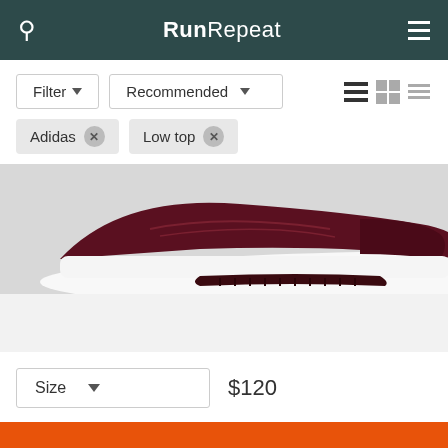RunRepeat
Filter ▾   Recommended ▾
Adidas ✕   Low top ✕
[Figure (photo): Close-up photo of a dark maroon/burgundy running shoe sole and upper, showing white midsole and textured outsole detail.]
Size   $120
See on Amazon »